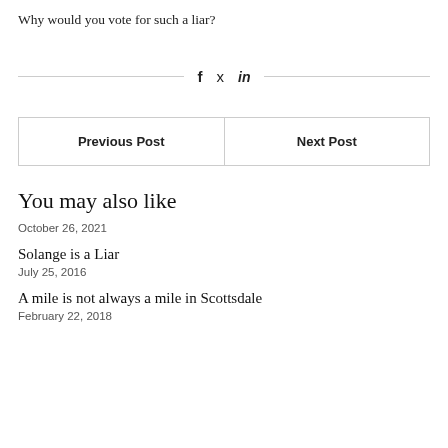Why would you vote for such a liar?
[Figure (other): Social share bar with Facebook, Twitter, and LinkedIn icons between horizontal lines]
| Previous Post | Next Post |
| --- | --- |
You may also like
October 26, 2021
Solange is a Liar
July 25, 2016
A mile is not always a mile in Scottsdale
February 22, 2018